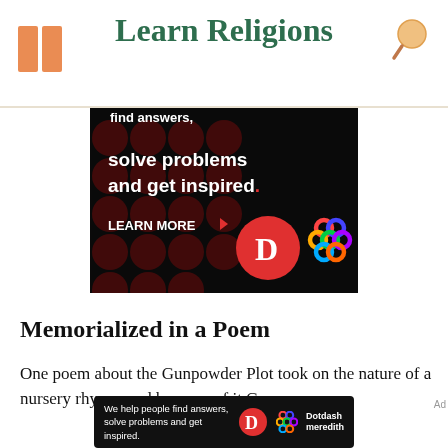Learn Religions
[Figure (screenshot): Advertisement banner with dark background showing text 'find answers, solve problems and get inspired.' with 'LEARN MORE' button and Dotdash Meredith logos]
Memorialized in a Poem
One poem about the Gunpowder Plot took on the nature of a nursery rhyme, and because of it Guy
[Figure (screenshot): Sticky bottom advertisement: 'We help people find answers, solve problems and get inspired.' with Dotdash Meredith logo]